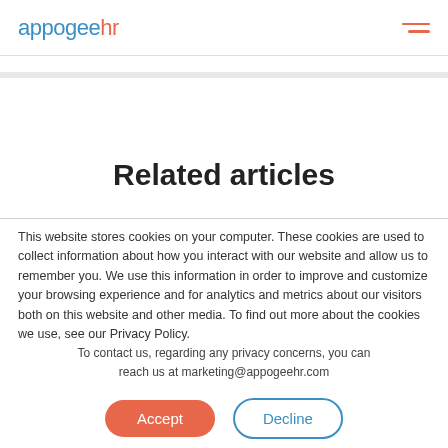appogeehr [logo with hamburger menu]
Related articles
This website stores cookies on your computer. These cookies are used to collect information about how you interact with our website and allow us to remember you. We use this information in order to improve and customize your browsing experience and for analytics and metrics about our visitors both on this website and other media. To find out more about the cookies we use, see our Privacy Policy.
To contact us, regarding any privacy concerns, you can reach us at marketing@appogeehr.com